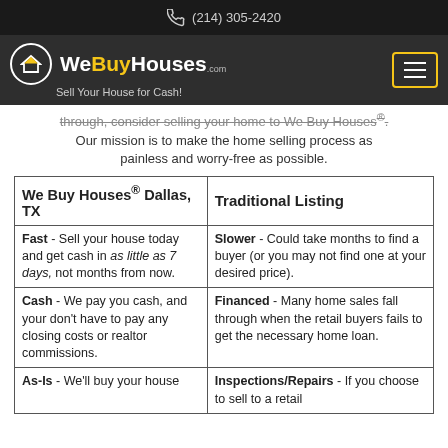(214) 305-2420
[Figure (logo): WeBuyHouses.com logo with house icon and tagline 'Sell Your House for Cash!']
through, consider selling your home to We Buy Houses®. Our mission is to make the home selling process as painless and worry-free as possible.
| We Buy Houses® Dallas, TX | Traditional Listing |
| --- | --- |
| Fast - Sell your house today and get cash in as little as 7 days, not months from now. | Slower - Could take months to find a buyer (or you may not find one at your desired price). |
| Cash - We pay you cash, and your don't have to pay any closing costs or realtor commissions. | Financed - Many home sales fall through when the retail buyers fails to get the necessary home loan. |
| As-Is - We'll buy your house | Inspections/Repairs - If you choose to sell to a retail |